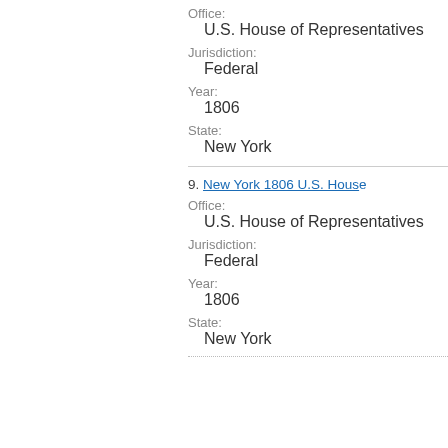Office:
U.S. House of Representatives
Jurisdiction:
Federal
Year:
1806
State:
New York
9. New York 1806 U.S. House
Office:
U.S. House of Representatives
Jurisdiction:
Federal
Year:
1806
State:
New York